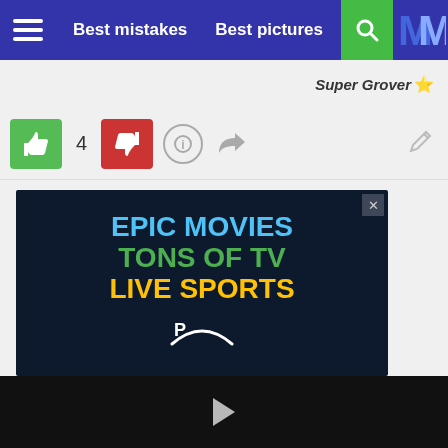Best mistakes  Best pictures
Super Grover ⭐
[Figure (screenshot): Like/dislike buttons with count 4, info icon, share icon, edit icon]
[Figure (infographic): Advertisement banner: EPIC MOVIES / TONS OF TV / LIVE SPORTS with Amazon Prime logo curve]
[Figure (screenshot): Video player area, black background with play button]